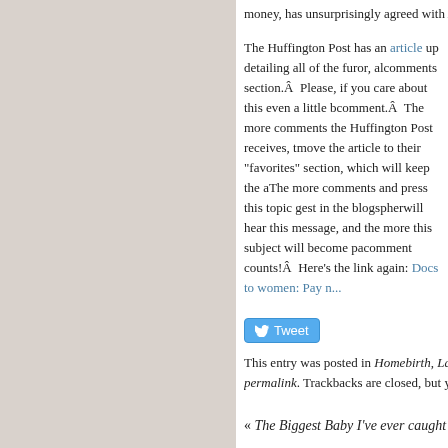money, has unsurprisingly agreed with ACOG's ridiculous statem...
The Huffington Post has an article up detailing all of the furor, also has a comments section.Â  Please, if you care about this even a little bit, leave a comment.Â  The more comments the Huffington Post receives, the more likely they are to move the article to their "favorites" section, which will keep the article more visible. The more comments and press this topic gest in the blogosphere, the more people will hear this message, and the more this subject will become part of the public. Every comment counts!Â  Here's the link again: Docs to women: Pay n...
[Figure (other): Tweet button with bird icon]
This entry was posted in Homebirth, Labor and Birth, Midw... permalink. Trackbacks are closed, but you can post a comm...
« The Biggest Baby I've ever caught
One Comment
[Figure (other): Comment input box (empty)]